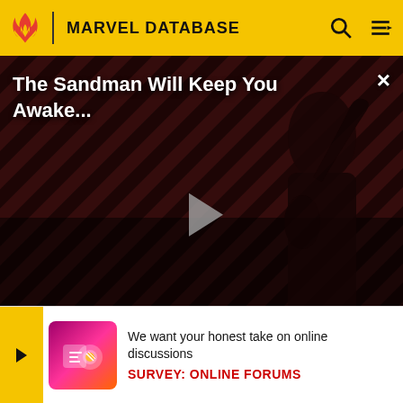MARVEL DATABASE
[Figure (screenshot): Video player thumbnail showing 'The Sandman Will Keep You Awake...' with a dark figure against diagonal red/brown stripes, play button in center, THE LOOP watermark, NaN:NaN timer badge]
hopes for saving Earth were completely shattered when he learned of what was happening between the heroes. Pete... his next p... ne, and P... ar
[Figure (infographic): Survey banner with yellow arrow chevron, pink/purple survey image icon, text 'We want your honest take on online discussions' and link 'SURVEY: ONLINE FORUMS']